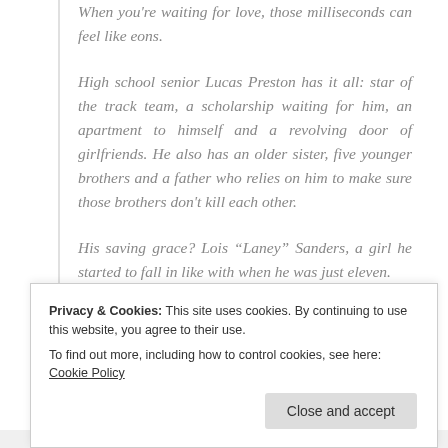When you're waiting for love, those milliseconds can feel like eons.
High school senior Lucas Preston has it all: star of the track team, a scholarship waiting for him, an apartment to himself and a revolving door of girlfriends. He also has an older sister, five younger brothers and a father who relies on him to make sure those brothers don't kill each other.
His saving grace? Lois “Laney” Sanders, a girl he started to fall in like with when he was just eleven.
A girl who became his best friend, his confidant, his courage.
Privacy & Cookies: This site uses cookies. By continuing to use this website, you agree to their use. To find out more, including how to control cookies, see here: Cookie Policy
Close and accept